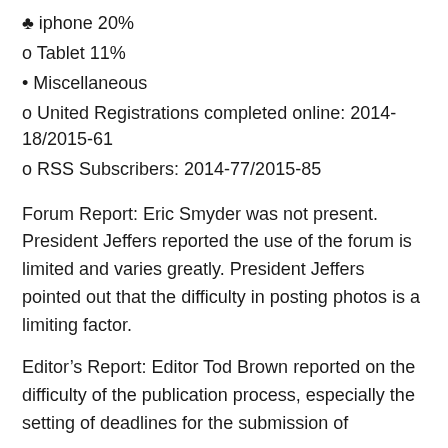♣ iphone 20%
o Tablet 11%
• Miscellaneous
o United Registrations completed online: 2014-18/2015-61
o RSS Subscribers: 2014-77/2015-85
Forum Report: Eric Smyder was not present. President Jeffers reported the use of the forum is limited and varies greatly. President Jeffers pointed out that the difficulty in posting photos is a limiting factor.
Editor's Report: Editor Tod Brown reported on the difficulty of the publication process, especially the setting of deadlines for the submission of